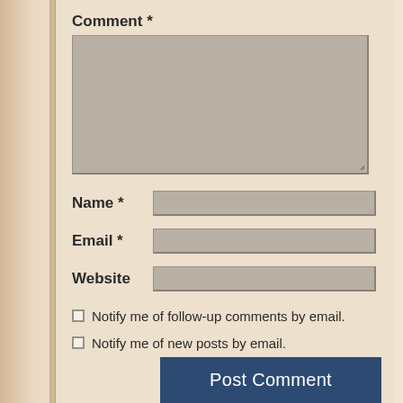Comment *
[Figure (screenshot): Comment textarea input box (gray, resizable)]
Name *
[Figure (screenshot): Name text input field (gray)]
Email *
[Figure (screenshot): Email text input field (gray)]
Website
[Figure (screenshot): Website text input field (gray)]
Notify me of follow-up comments by email.
Notify me of new posts by email.
Post Comment